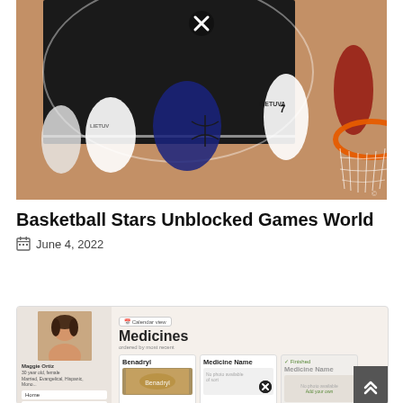[Figure (photo): Aerial view of basketball players in action, USA player in dark uniform holding ball surrounded by Lithuania players in white uniforms (number 7 visible), basketball hoop orange rim visible on right, court with black key area visible from above. A circular close/X button overlay appears at top center.]
Basketball Stars Unblocked Games World
June 4, 2022
[Figure (screenshot): Screenshot of a healthcare web application showing a profile sidebar with a woman photo (Maggie Ortiz, 30 year old female, Married, Evangelical, Hispanic, Mono...) with navigation links (Home, Insurance, Vaccines/shots), and main content area showing Medicines section ordered by most recent, with medicine cards including Benadryl (photo of medicine), Medicine Name (empty with X close button), and a finished Medicine Name card.]